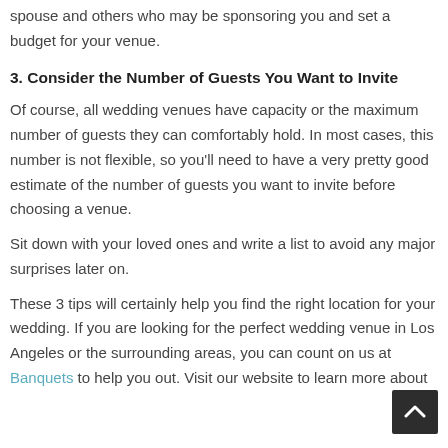spouse and others who may be sponsoring you and set a budget for your venue.
3. Consider the Number of Guests You Want to Invite
Of course, all wedding venues have capacity or the maximum number of guests they can comfortably hold. In most cases, this number is not flexible, so you'll need to have a very pretty good estimate of the number of guests you want to invite before choosing a venue.
Sit down with your loved ones and write a list to avoid any major surprises later on.
These 3 tips will certainly help you find the right location for your wedding. If you are looking for the perfect wedding venue in Los Angeles or the surrounding areas, you can count on us at Banquets to help you out. Visit our website to learn more about